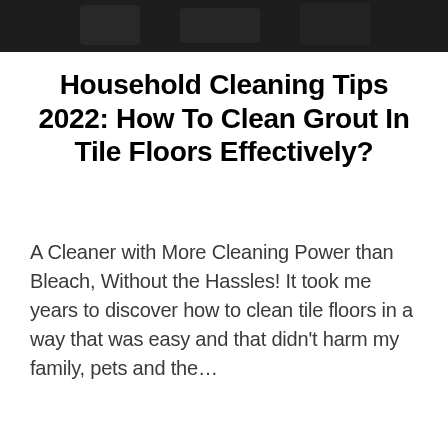[Figure (photo): Dark photograph showing a person cleaning or working, positioned at the top of the page]
Household Cleaning Tips 2022: How To Clean Grout In Tile Floors Effectively?
A Cleaner with More Cleaning Power than Bleach, Without the Hassles! It took me years to discover how to clean tile floors in a way that was easy and that didn't harm my family, pets and the...